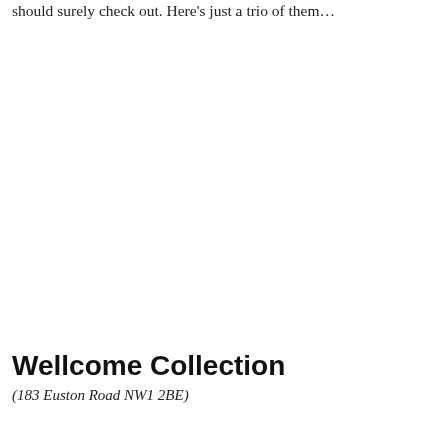should surely check out. Here's just a trio of them…
Wellcome Collection
(183 Euston Road NW1 2BE)